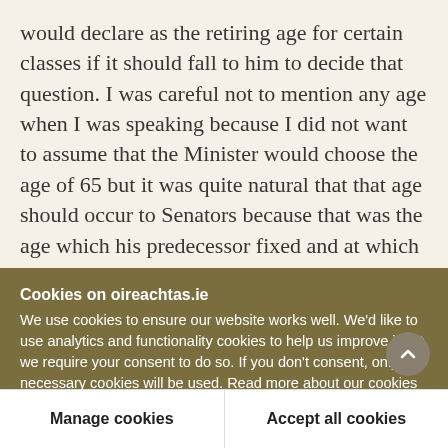would declare as the retiring age for certain classes if it should fall to him to decide that question. I was careful not to mention any age when I was speaking because I did not want to assume that the Minister would choose the age of 65 but it was quite natural that that age should occur to Senators because that was the age which his predecessor fixed and at which he sought to make it mandatory for local officials to retire. I am glad to hear an admission from the Minister that that was an action which nobody
Cookies on oireachtas.ie
We use cookies to ensure our website works well. We'd like to use analytics and functionality cookies to help us improve it but we require your consent to do so. If you don't consent, only necessary cookies will be used. Read more about our cookies
Manage cookies
Accept all cookies